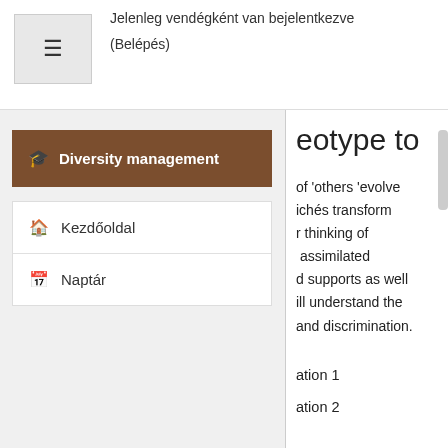Jelenleg vendégként van bejelentkezve
(Belépés)
Diversity management
Kezdőoldal
Naptár
eotype to
of 'others 'evolve
ichés transform
r thinking of
assimilated
d supports as well
ill understand the
and discrimination.
ation 1
ation 2